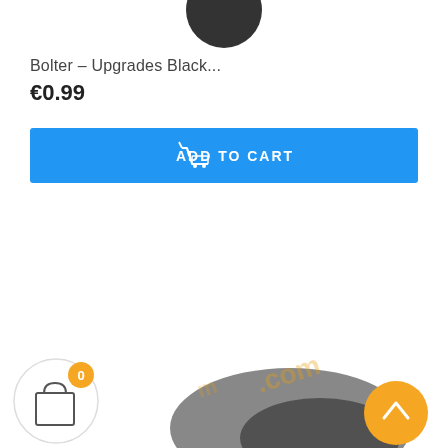[Figure (photo): Partial circular dark product image at top center of page]
Bolter – Upgrades Black...
€0.99
[Figure (other): Blue Add to Cart button with shopping cart icon]
[Figure (photo): Bottom portion showing a shopping bag icon with orange badge showing 0, and an orange scroll-to-top button, and partial product image at bottom]
0